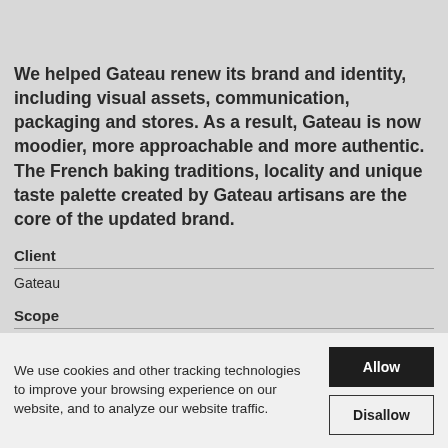We helped Gateau renew its brand and identity, including visual assets, communication, packaging and stores. As a result, Gateau is now moodier, more approachable and more authentic. The French baking traditions, locality and unique taste palette created by Gateau artisans are the core of the updated brand.
Client
Gateau
Scope
Research & analysis
We use cookies and other tracking technologies to improve your browsing experience on our website, and to analyze our website traffic.